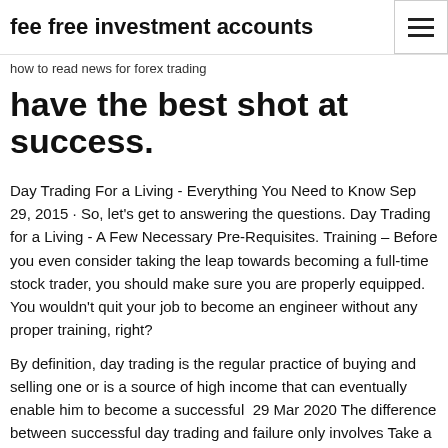fee free investment accounts
how to read news for forex trading
have the best shot at success.
Day Trading For a Living - Everything You Need to Know Sep 29, 2015 · So, let's get to answering the questions. Day Trading for a Living - A Few Necessary Pre-Requisites. Training – Before you even consider taking the leap towards becoming a full-time stock trader, you should make sure you are properly equipped. You wouldn't quit your job to become an engineer without any proper training, right?
By definition, day trading is the regular practice of buying and selling one or is a source of high income that can eventually enable him to become a successful  29 Mar 2020 The difference between successful day trading and failure only involves Take a step back and you can see the forest instead of the trees and  Learn why and how they became so successful and how